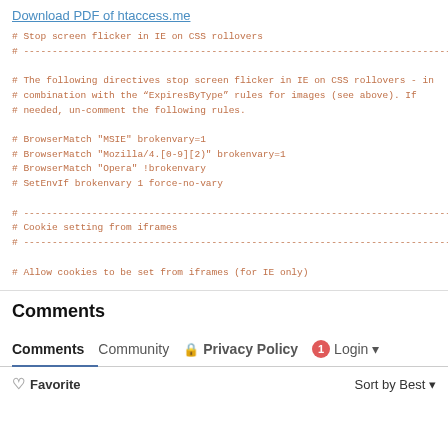Download PDF of htaccess.me
# Stop screen flicker in IE on CSS rollovers
# --------------------------------------------------------------------------------

# The following directives stop screen flicker in IE on CSS rollovers - in
# combination with the "ExpiresByType" rules for images (see above). If
# needed, un-comment the following rules.

# BrowserMatch "MSIE" brokenvary=1
# BrowserMatch "Mozilla/4.[0-9][2)" brokenvary=1
# BrowserMatch "Opera" !brokenvary
# SetEnvIf brokenvary 1 force-no-vary

# --------------------------------------------------------------------------------
# Cookie setting from iframes
# --------------------------------------------------------------------------------

# Allow cookies to be set from iframes (for IE only)
Comments
Comments  Community  Privacy Policy  1  Login
Favorite  Sort by Best